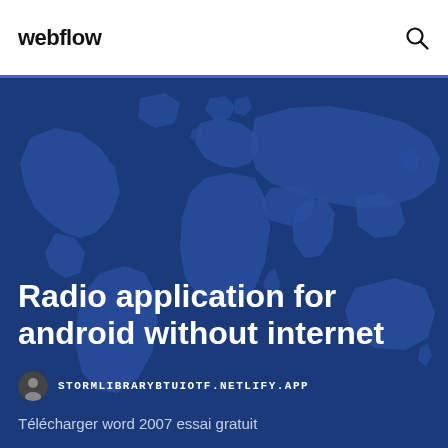webflow
[Figure (map): World map silhouette on dark blue background used as hero image]
Radio application for android without internet
STORMLIBRARYBTUIOTF.NETLIFY.APP
Télécharger word 2007 essai gratuit